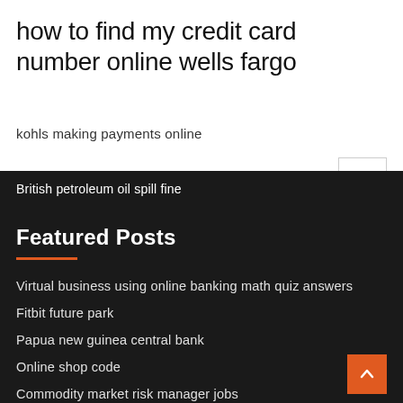how to find my credit card number online wells fargo
kohls making payments online
British petroleum oil spill fine
Featured Posts
Virtual business using online banking math quiz answers
Fitbit future park
Papua new guinea central bank
Online shop code
Commodity market risk manager jobs